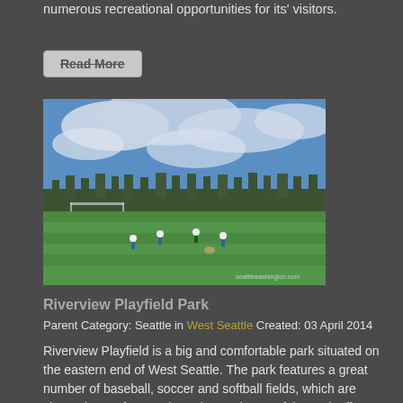numerous recreational opportunities for its' visitors.
Read More
[Figure (photo): Outdoor soccer/sports field at Riverview Playfield Park with players on a green grass field, trees in background, blue sky with clouds. Watermark: seattlewashington.com]
Riverview Playfield Park
Parent Category: Seattle in West Seattle Created: 03 April 2014
Riverview Playfield is a big and comfortable park situated on the eastern end of West Seattle. The park features a great number of baseball, soccer and softball fields, which are situated one after another. The north part of the park offers nice walking trails. They are perfect for a morning run or a walk, offering views of the Cascades.